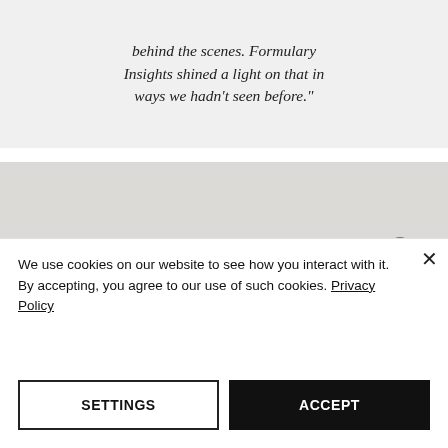behind the scenes. Formulary Insights shined a light on that in ways we hadn't seen before."
[Figure (photo): Group of business professionals sitting around a conference table in a modern office with floor-to-ceiling windows, viewed from behind/side, with ocean or open sky visible through the windows.]
We use cookies on our website to see how you interact with it. By accepting, you agree to our use of such cookies. Privacy Policy